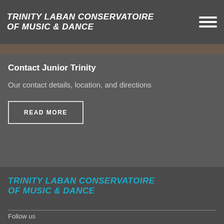TRINITY LABAN CONSERVATOIRE OF MUSIC & DANCE
[Figure (photo): Partial photo strip visible at top of middle section]
Contact Junior Trinity
Our contact details, location, and directions
READ MORE
TRINITY LABAN CONSERVATOIRE OF MUSIC & DANCE
Follow us